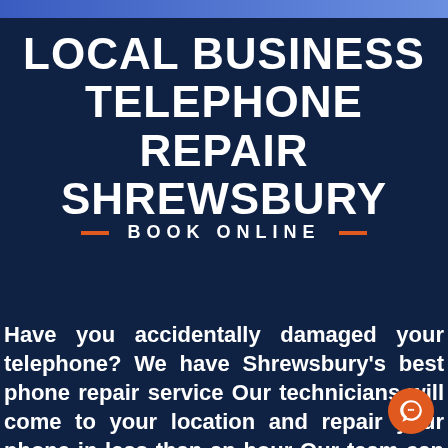LOCAL BUSINESS TELEPHONE REPAIR SHREWSBURY
BOOK ONLINE
Have you accidentally damaged your telephone? We have Shrewsbury's best phone repair service Our technicians will come to your location and repair your phone in less than an hour Our team can fix